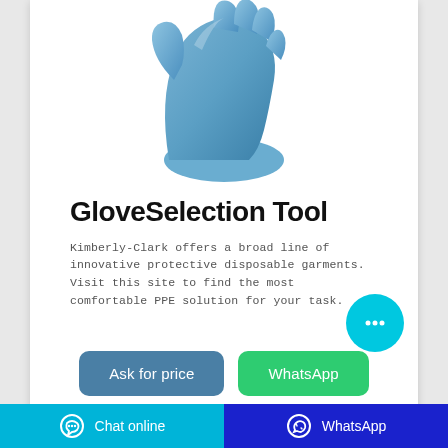[Figure (photo): Blue disposable protective glove shown from above on white background]
GloveSelection Tool
Kimberly-Clark offers a broad line of innovative protective disposable garments. Visit this site to find the most comfortable PPE solution for your task.
[Figure (illustration): Cyan circular chat bubble button with three dots (ellipsis) indicating a chat interface]
[Figure (illustration): Two buttons: 'Ask for price' (dark teal) and 'WhatsApp' (green)]
Chat online   WhatsApp